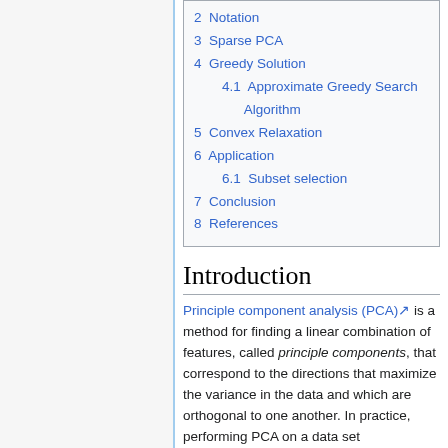2 Notation
3 Sparse PCA
4 Greedy Solution
4.1 Approximate Greedy Search Algorithm
5 Convex Relaxation
6 Application
6.1 Subset selection
7 Conclusion
8 References
Introduction
Principle component analysis (PCA) is a method for finding a linear combination of features, called principle components, that correspond to the directions that maximize the variance in the data and which are orthogonal to one another. In practice, performing PCA on a data set